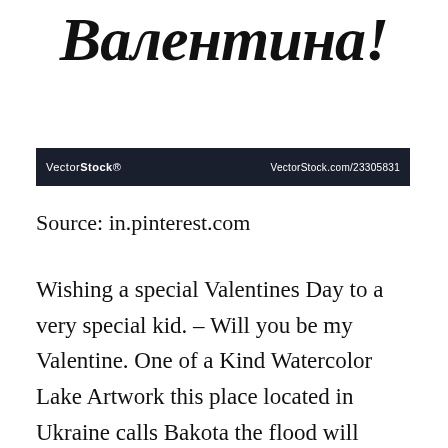[Figure (illustration): Large decorative Cyrillic calligraphy text reading 'Валентина!' in bold italic black script]
[Figure (logo): VectorStock watermark bar: dark navy background with 'VectorStock®' on the left and 'VectorStock.com/23305831' on the right in white text]
Source: in.pinterest.com
Wishing a special Valentines Day to a very special kid. – Will you be my Valentine. One of a Kind Watercolor Lake Artwork this place located in Ukraine calls Bakota the flood will come above the water E...